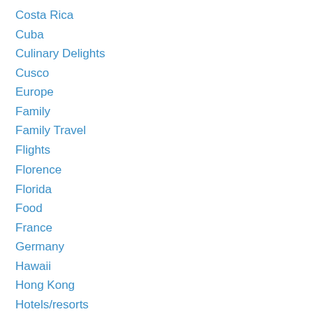Costa Rica
Cuba
Culinary Delights
Cusco
Europe
Family
Family Travel
Flights
Florence
Florida
Food
France
Germany
Hawaii
Hong Kong
Hotels/resorts
Iceland
Indonesia
Ireland
Italy